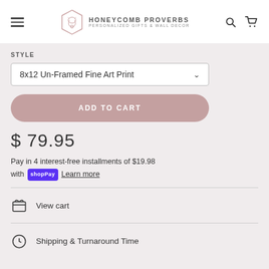[Figure (logo): Honeycomb Proverbs logo with hexagonal emblem and text 'HONEYCOMB PROVERBS / PERSONALIZED GIFTS & WALL DECOR']
STYLE
8x12 Un-Framed Fine Art Print
ADD TO CART
$ 79.95
Pay in 4 interest-free installments of $19.98 with shop Pay Learn more
View cart
Shipping & Turnaround Time